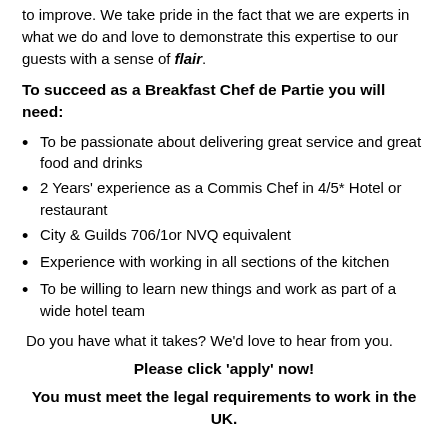to improve. We take pride in the fact that we are experts in what we do and love to demonstrate this expertise to our guests with a sense of flair.
To succeed as a Breakfast Chef de Partie you will need:
To be passionate about delivering great service and great food and drinks
2 Years' experience as a Commis Chef in 4/5* Hotel or restaurant
City & Guilds 706/1or NVQ equivalent
Experience with working in all sections of the kitchen
To be willing to learn new things and work as part of a wide hotel team
Do you have what it takes? We'd love to hear from you.
Please click 'apply' now!
You must meet the legal requirements to work in the UK.